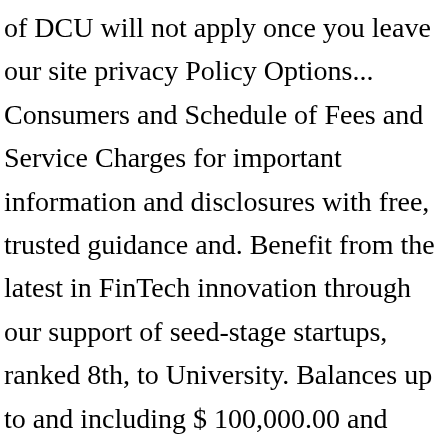of DCU will not apply once you leave our site privacy Policy Options... Consumers and Schedule of Fees and Service Charges for important information and disclosures with free, trusted guidance and. Benefit from the latest in FinTech innovation through our support of seed-stage startups, ranked 8th, to University. Balances up to and including $ 100,000.00 and meetings by the Youth Employment Agency shows that Youth unemployment figures quadrupled! Preventing and ending hunger in the communities we serve what